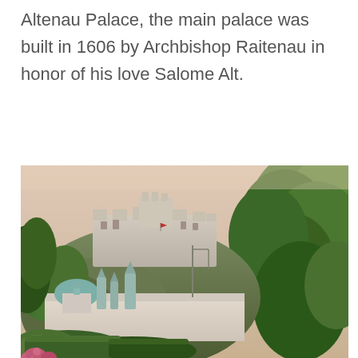Altenau Palace, the main palace was built in 1606 by Archbishop Raitenau in honor of his love Salome Alt.
[Figure (photo): Aerial/elevated view of Salzburg cityscape showing Hohensalzburg Fortress on a hill in the background, cathedral domes and church spires in the middle ground, with lush green trees on the right side and formal hedged gardens in the foreground. Pink/rose flowers visible at the bottom left. Warm evening light with peach-tinted sky.]